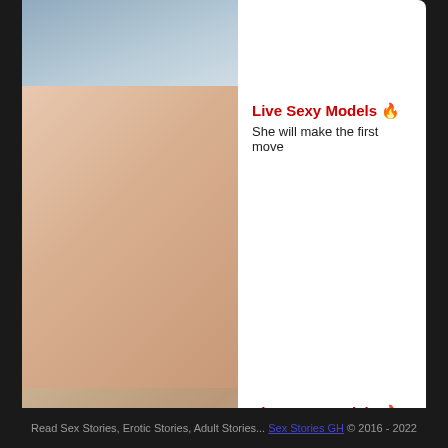[Figure (photo): Top partial photo of a person in a grey top against a snowy background, cropped at chest level]
Live Sexy Models 🔥
She will make the first move
[Figure (photo): Close-up photo showing hands with dark nail polish]
Live Sexy Models 🔥
She will make the first move
[Figure (photo): Photo of a blonde tattooed woman in a bedroom setting]
Read Sex Stories, Erotic Stories, Adult Stories... Sex Stories GH © 2016 - 2022